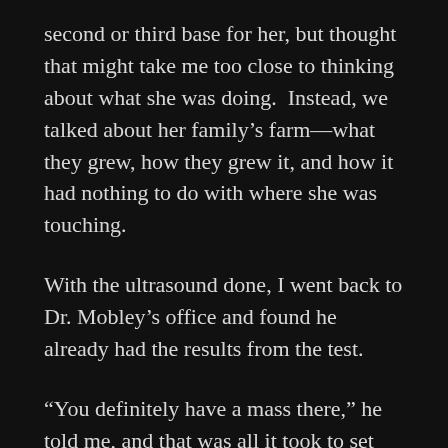second or third base for her, but thought that might take me too close to thinking about what she was doing.  Instead, we talked about her family's farm—what they grew, how they grew it, and how it had nothing to do with where she was touching.
With the ultrasound done, I went back to Dr. Mobley's office and found he already had the results from the test.
“You definitely have a mass there,” he told me, and that was all it took to set my mind off again.  While my wife was crying over the diagnosis, I was imagining rows of sperm, all sitting in little pews, while another sperm cell in a priest’s robe stood before them reading the Gospel.  Before I could decide whether my testicular mass would be in English or, for a more